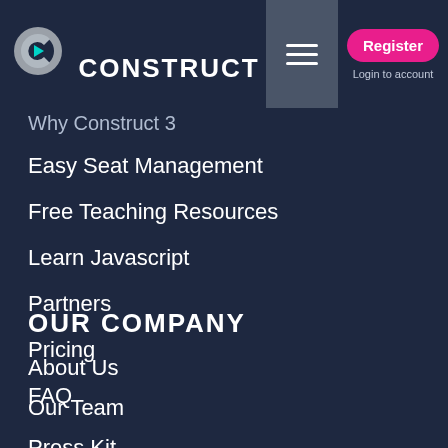[Figure (logo): Construct 3 logo with stylized C icon and CONSTRUCT wordmark in white]
Why Construct 3
Easy Seat Management
Free Teaching Resources
Learn Javascript
Partners
Pricing
FAQ
OUR COMPANY
About Us
Our Team
Press Kit
Contact Us